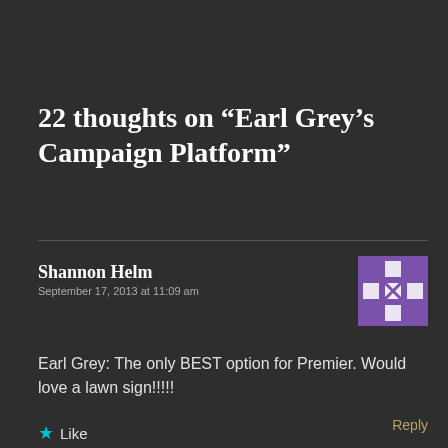22 thoughts on “Earl Grey’s Campaign Platform”
Shannon Helm
September 17, 2013 at 11:09 am
Earl Grey: The only BEST option for Premier. Would love a lawn sign!!!!!
★ Like
Reply